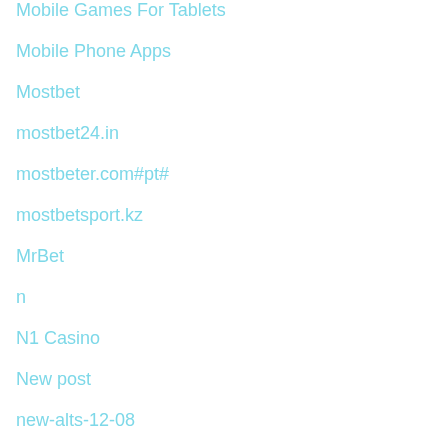Mobile Games For Tablets
Mobile Phone Apps
Mostbet
mostbet24.in
mostbeter.com#pt#
mostbetsport.kz
MrBet
n
N1 Casino
New post
new-alts-12-08
News
Non classé
Ogólny